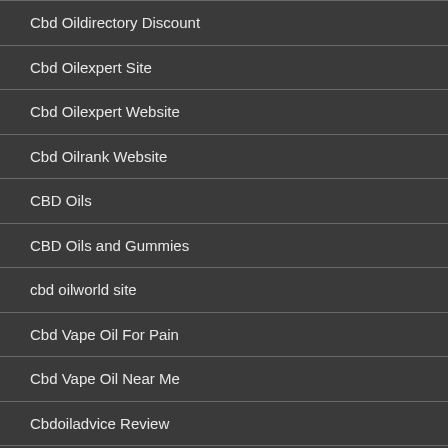Cbd Oildirectory Discount
Cbd Oilexpert Site
Cbd Oilexpert Website
Cbd Oilrank Website
CBD Oils
CBD Oils and Gummies
cbd oilworld site
Cbd Vape Oil For Pain
Cbd Vape Oil Near Me
Cbdoiladvice Review
Cbdoildelivery.org Coupon Codes